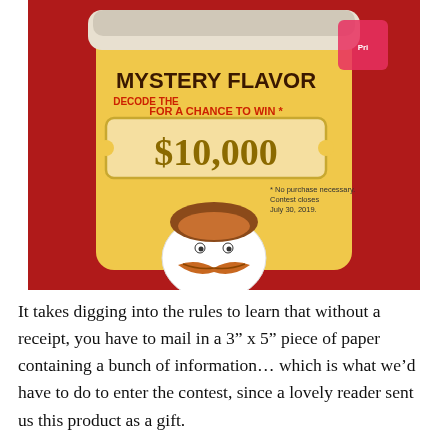[Figure (photo): Photo of a Pringles Mystery Flavor canister against a red background. The yellow canister label reads: 'DECODE THE MYSTERY FLAVOR FOR A CHANCE TO WIN * $10,000' with fine print '* No purchase necessary. Contest closes July 30, 2019.' The Pringles mascot face with mustache is visible at the bottom of the can.]
It takes digging into the rules to learn that without a receipt, you have to mail in a 3" x 5" piece of paper containing a bunch of information... which is what we'd have to do to enter the contest, since a lovely reader sent us this product as a gift.